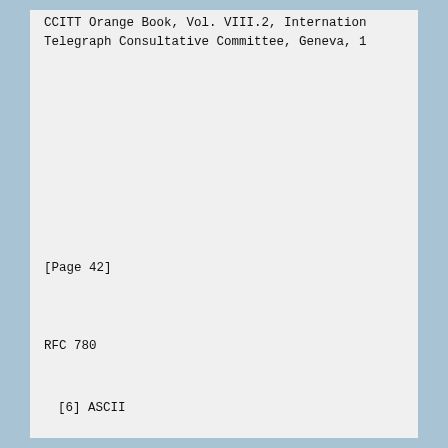CCITT Orange Book, Vol. VIII.2, International Telegraph Consultative Committee, Geneva, 1...
[Page 42]
RFC 780
[6]  ASCII